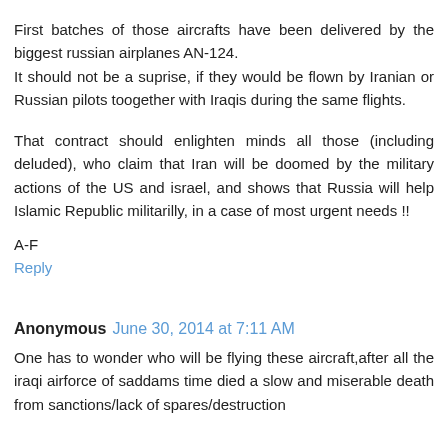First batches of those aircrafts have been delivered by the biggest russian airplanes AN-124.
It should not be a suprise, if they would be flown by Iranian or Russian pilots toogether with Iraqis during the same flights.

That contract should enlighten minds all those (including deluded), who claim that Iran will be doomed by the military actions of the US and israel, and shows that Russia will help Islamic Republic militarilly, in a case of most urgent needs !!
A-F
Reply
Anonymous  June 30, 2014 at 7:11 AM
One has to wonder who will be flying these aircraft,after all the iraqi airforce of saddams time died a slow and miserable death from sanctions/lack of spares/destruction